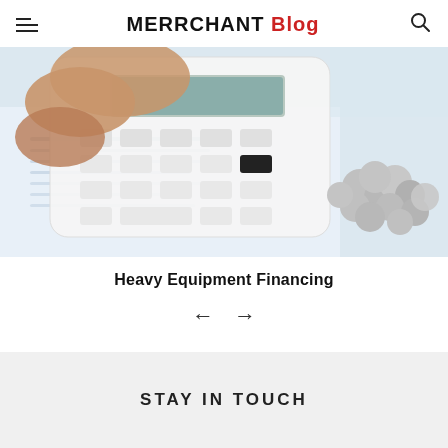MERRCHANT Blog
[Figure (photo): A hand pressing buttons on a white calculator, with a pile of coins and financial documents on a desk in the background.]
Heavy Equipment Financing
← →
STAY IN TOUCH